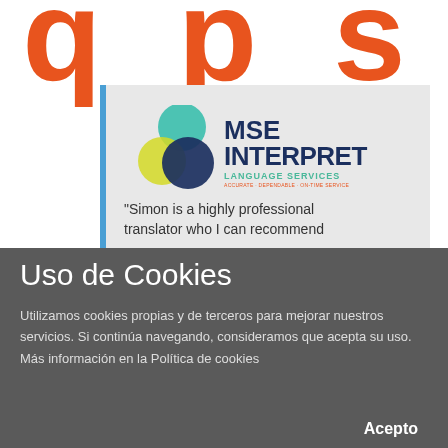[Figure (logo): MSE Interpret Language Services logo with overlapping colored circles (teal, yellow, dark blue) and bold text reading MSE INTERPRET LANGUAGE SERVICES]
"Simon is a highly professional translator who I can recommend
Uso de Cookies
Utilizamos cookies propias y de terceros para mejorar nuestros servicios. Si continúa navegando, consideramos que acepta su uso. Más información en la Política de cookies
Acepto